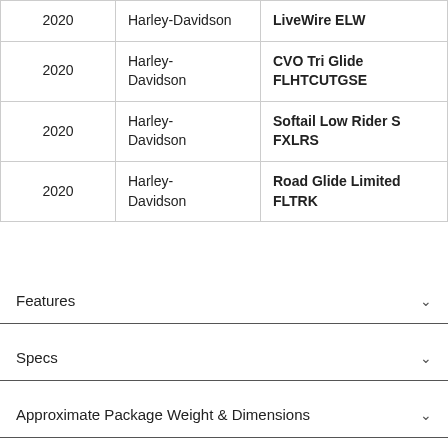| Year | Make | Model |
| --- | --- | --- |
| 2020 | Harley-Davidson | LiveWire ELW |
| 2020 | Harley-Davidson | CVO Tri Glide FLHTCUTGSE |
| 2020 | Harley-Davidson | Softail Low Rider S FXLRS |
| 2020 | Harley-Davidson | Road Glide Limited FLTRK |
Features
Specs
Approximate Package Weight & Dimensions